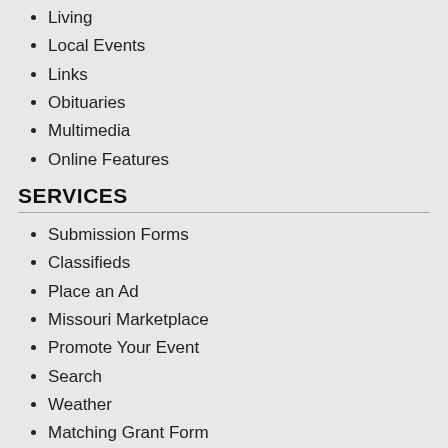Living
Local Events
Links
Obituaries
Multimedia
Online Features
SERVICES
Submission Forms
Classifieds
Place an Ad
Missouri Marketplace
Promote Your Event
Search
Weather
Matching Grant Form
[Figure (logo): Lincoln NewsNow! logo with subtitle: a partnership of The Elbserry Democrat, Troy Free Press, & Lincoln County Journal]
CONTACT INFORMATION